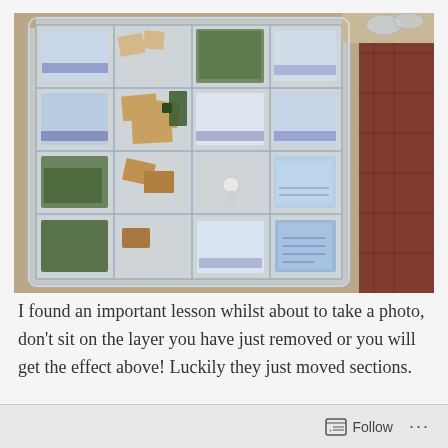[Figure (photo): Overhead view of a clear plastic storage box with multiple compartments containing miniature figurines, brown cardboard bases, small bagged items with blue-printed labels, and green terrain pieces arranged across the sections. The box sits on a patterned carpet.]
I found an important lesson whilst about to take a photo, don't sit on the layer you have just removed or you will get the effect above! Luckily they just moved sections.
Follow ...